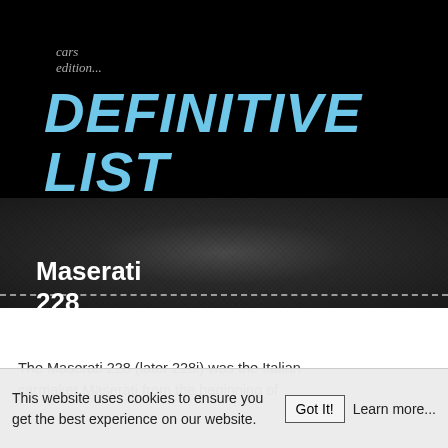cars edition...
DEFINITIVE LIST
Maserati 228 (228i)
The Maserati 228 (later 228i) was the Italian carmaker Maserati from the beginning of
This website uses cookies to ensure you get the best experience on our website.  Got It!  Learn more...